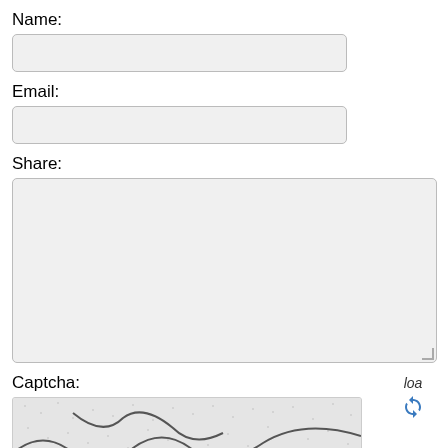Name:
(Name input field)
Email:
(Email input field)
Share:
(Share textarea)
Captcha:
[Figure (other): CAPTCHA image showing distorted text 'tbar' with squiggly lines over a gray speckled background]
loa
Enter code:
(Enter code input field)
Remember my name and